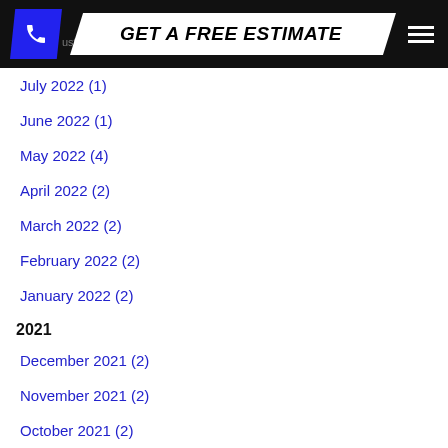GET A FREE ESTIMATE
July 2022 (1)
June 2022 (1)
May 2022 (4)
April 2022 (2)
March 2022 (2)
February 2022 (2)
January 2022 (2)
2021
December 2021 (2)
November 2021 (2)
October 2021 (2)
September 2021 (2)